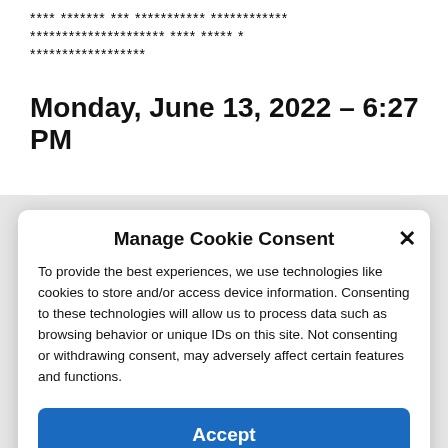**** ******* *** *********** ************
********************* **** ***** *
******************
Monday, June 13, 2022 – 6:27 PM
[Figure (screenshot): Cookie consent modal dialog with title 'Manage Cookie Consent', close X button, descriptive text about cookies, an Accept button, and a Cookie Policy link.]
Manage Cookie Consent
To provide the best experiences, we use technologies like cookies to store and/or access device information. Consenting to these technologies will allow us to process data such as browsing behavior or unique IDs on this site. Not consenting or withdrawing consent, may adversely affect certain features and functions.
Accept
Cookie Policy